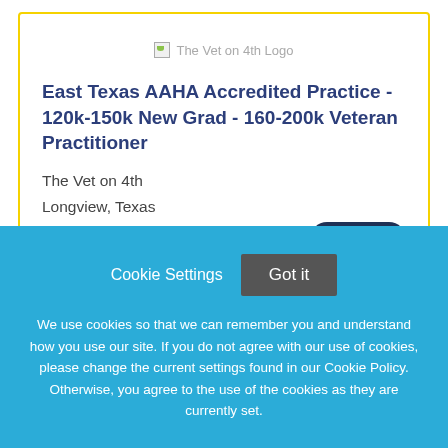[Figure (logo): The Vet on 4th Logo placeholder image]
East Texas AAHA Accredited Practice - 120k-150k New Grad - 160-200k Veteran Practitioner
The Vet on 4th
Longview, Texas
Featured!
Cookie Settings
Got it
We use cookies so that we can remember you and understand how you use our site. If you do not agree with our use of cookies, please change the current settings found in our Cookie Policy. Otherwise, you agree to the use of the cookies as they are currently set.